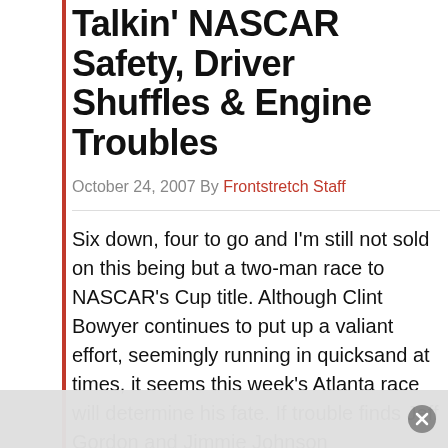Talkin' NASCAR Safety, Driver Shuffles & Engine Troubles
October 24, 2007 By Frontstretch Staff
Six down, four to go and I'm still not sold on this being but a two-man race to NASCAR's Cup title. Although Clint Bowyer continues to put up a valiant effort, seemingly running in quicksand at times, it seems this week's Atlanta race will determine his fate. If trouble finds Jeff Gordon and Jimmie Johnson